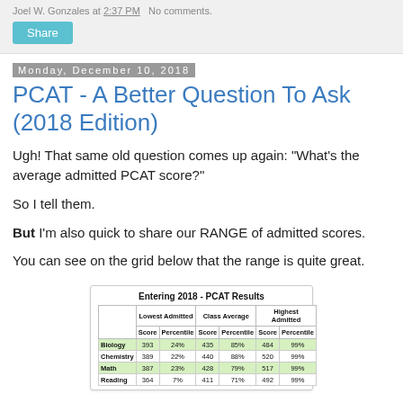Joel W. Gonzales at 2:37 PM   No comments.
Share
Monday, December 10, 2018
PCAT - A Better Question To Ask (2018 Edition)
Ugh! That same old question comes up again: "What's the average admitted PCAT score?"
So I tell them.
But I'm also quick to share our RANGE of admitted scores.
You can see on the grid below that the range is quite great.
[Figure (table-as-image): Table showing Lowest Admitted, Class Average, and Highest Admitted PCAT scores and percentiles for Biology, Chemistry, Math, and Reading]